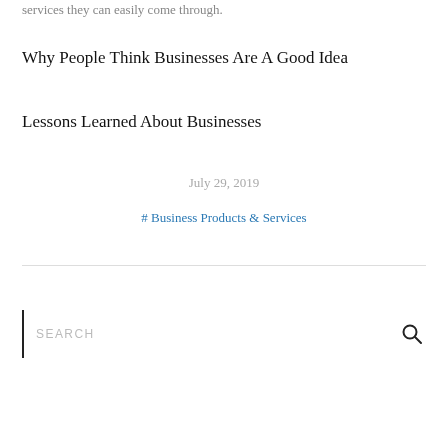services they can easily come through.
Why People Think Businesses Are A Good Idea
Lessons Learned About Businesses
July 29, 2019
# Business Products & Services
SEARCH